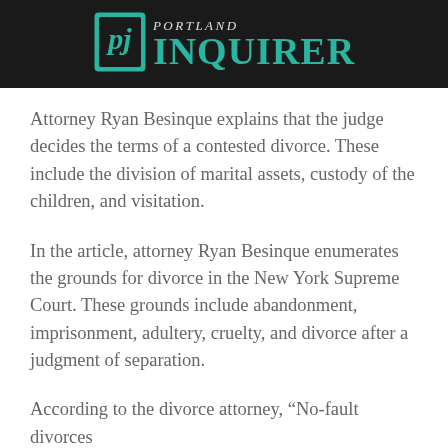PORTLAND INQUIRER
Attorney Ryan Besinque explains that the judge decides the terms of a contested divorce. These include the division of marital assets, custody of the children, and visitation.
In the article, attorney Ryan Besinque enumerates the grounds for divorce in the New York Supreme Court. These grounds include abandonment, imprisonment, adultery, cruelty, and divorce after a judgment of separation.
According to the divorce attorney, “No-fault divorces